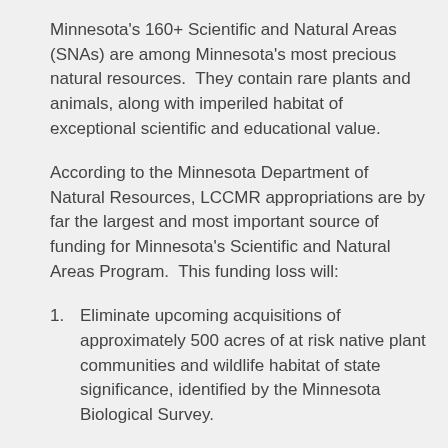Minnesota's 160+ Scientific and Natural Areas (SNAs) are among Minnesota's most precious natural resources.  They contain rare plants and animals, along with imperiled habitat of exceptional scientific and educational value.
According to the Minnesota Department of Natural Resources, LCCMR appropriations are by far the largest and most important source of funding for Minnesota's Scientific and Natural Areas Program.  This funding loss will:
Eliminate upcoming acquisitions of approximately 500 acres of at risk native plant communities and wildlife habitat of state significance, identified by the Minnesota Biological Survey.
Eliminate all funding support for SNA outreach work – including no support for the site steward network, no DNR-organized volunteer events, no citizen…